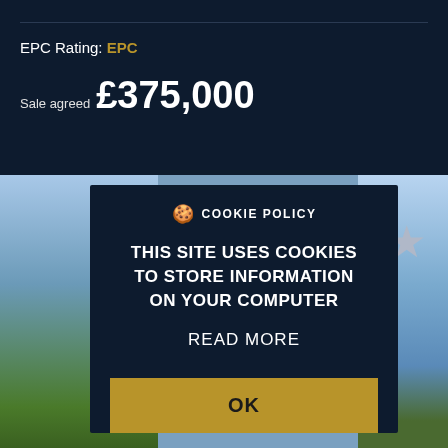EPC Rating: EPC
Sale agreed £375,000
[Figure (screenshot): Background photo strip showing a house with sky and rooftop, partially obscured by cookie modal. A star icon is visible on the right side.]
COOKIE POLICY
THIS SITE USES COOKIES TO STORE INFORMATION ON YOUR COMPUTER
READ MORE
OK